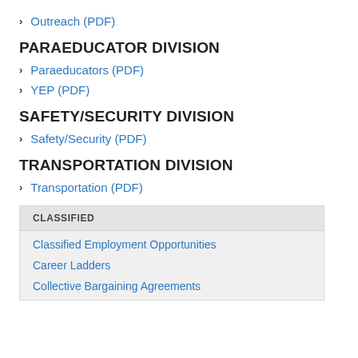Outreach (PDF)
PARAEDUCATOR DIVISION
Paraeducators (PDF)
YEP (PDF)
SAFETY/SECURITY DIVISION
Safety/Security (PDF)
TRANSPORTATION DIVISION
Transportation (PDF)
CLASSIFIED
Classified Employment Opportunities
Career Ladders
Collective Bargaining Agreements